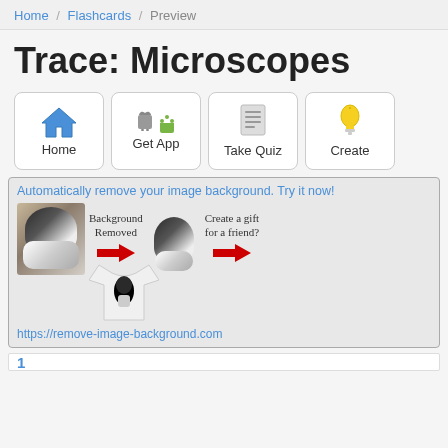Home / Flashcards / Preview
Trace: Microscopes
[Figure (infographic): Four navigation buttons: Home (blue house icon), Get App (Apple and Android icons), Take Quiz (document icon), Create (lightbulb icon)]
[Figure (infographic): Advertisement for remove-image-background.com showing a dog photo with background removed and placed on a t-shirt. Text: 'Automatically remove your image background. Try it now!' with label 'Background Removed', 'Create a gift for a friend?' and red arrows. URL: https://remove-image-background.com]